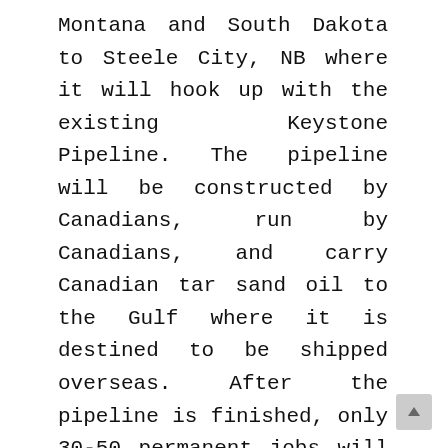Montana and South Dakota to Steele City, NB where it will hook up with the existing Keystone Pipeline. The pipeline will be constructed by Canadians, run by Canadians, and carry Canadian tar sand oil to the Gulf where it is destined to be shipped overseas. After the pipeline is finished, only 30-50 permanent jobs will be created. Not surprisingly, after a rigorous vetting process and analysis with substantial public input, the US State Department under President Obama declined to grant Keystone XL the permit needed for construction, maintenance, and operation across the US-Canada border. On his fourth day in office, President Trump granted this permit.